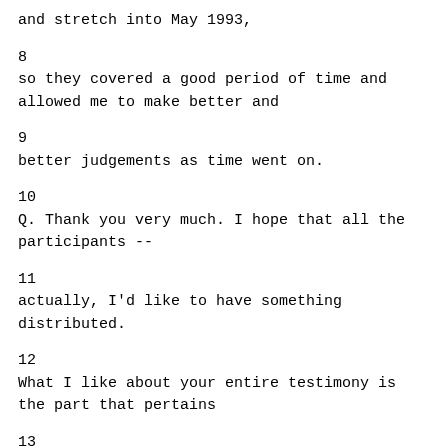and stretch into May 1993,
8    so they covered a good period of time and allowed me to make better and
9    better judgements as time went on.
10        Q.   Thank you very much.  I hope that all the participants --
11    actually, I'd like to have something distributed.
12              What I like about your entire testimony is the part that pertains
13    to the journals.  Perhaps I'm a bit surprised by the part that came after
14    the "but" that you would insert, and that would